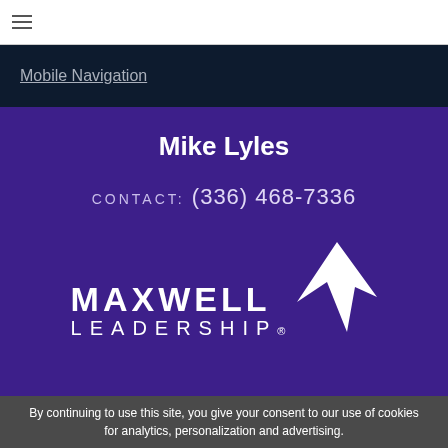Mobile Navigation
Mike Lyles
CONTACT: (336) 468-7336
[Figure (logo): Maxwell Leadership logo with arrow icon and text MAXWELL LEADERSHIP]
By continuing to use this site, you give your consent to our use of cookies for analytics, personalization and advertising.